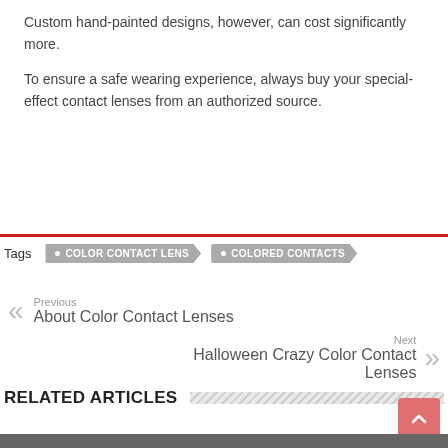Custom hand-painted designs, however, can cost significantly more.
To ensure a safe wearing experience, always buy your special-effect contact lenses from an authorized source.
Tags  COLOR CONTACT LENS  COLORED CONTACTS
Previous
About Color Contact Lenses
Next
Halloween Crazy Color Contact Lenses
RELATED ARTICLES